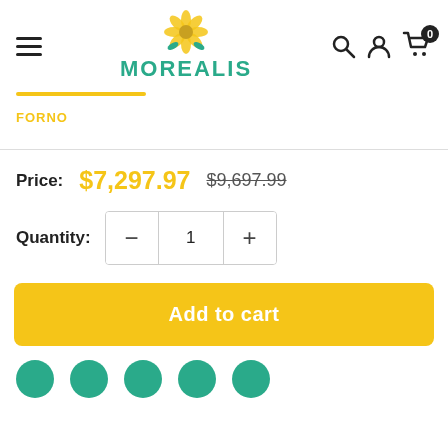MOREALIS
FORNO
Price: $7,297.97  $9,697.99
Quantity: 1
Add to cart